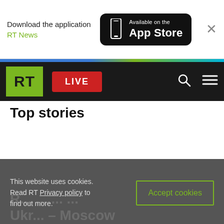[Figure (screenshot): App Store download banner with RT News text and Available on the App Store button]
[Figure (screenshot): RT news website navigation bar with green RT logo, red LIVE button, search icon and hamburger menu]
Top stories
This website uses cookies. Read RT Privacy policy to find out more.
Accept cookies